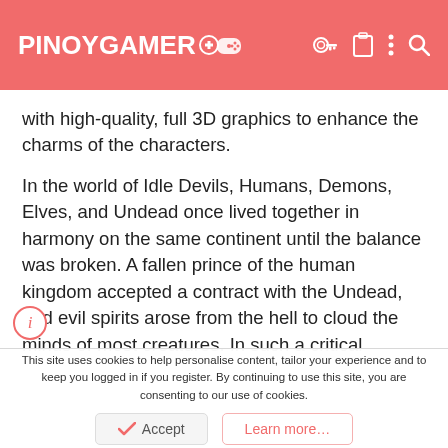PINOYGAMER
with high-quality, full 3D graphics to enhance the charms of the characters.
In the world of Idle Devils, Humans, Demons, Elves, and Undead once lived together in harmony on the same continent until the balance was broken. A fallen prince of the human kingdom accepted a contract with the Undead, and evil spirits arose from the hell to cloud the minds of most creatures. In such a critical situation, players are appointed by the King as a new lord with the duty and forge their own fellowships to fight against
This site uses cookies to help personalise content, tailor your experience and to keep you logged in if you register. By continuing to use this site, you are consenting to our use of cookies.